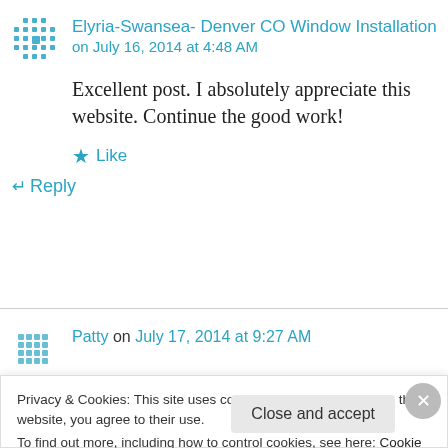Elyria-Swansea- Denver CO Window Installation on July 16, 2014 at 4:48 AM
Excellent post. I absolutely appreciate this website. Continue the good work!
★ Like
↵ Reply
Patty on July 17, 2014 at 9:27 AM
Privacy & Cookies: This site uses cookies. By continuing to use this website, you agree to their use.
To find out more, including how to control cookies, see here: Cookie Policy
Close and accept